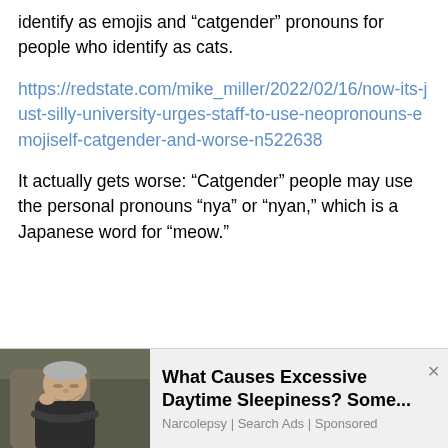identify as emojis and “catgender” pronouns for people who identify as cats.
https://redstate.com/mike_miller/2022/02/16/now-its-just-silly-university-urges-staff-to-use-neopronouns-emojiself-catgender-and-worse-n522638
It actually gets worse: “Catgender” people may use the personal pronouns “nya” or “nyan,” which is a Japanese word for “meow.”
[Figure (photo): Advertisement showing an elderly man sleeping/dozing in a chair, with text about narcolepsy]
What Causes Excessive Daytime Sleepiness? Some...
Narcolepsy | Search Ads | Sponsored